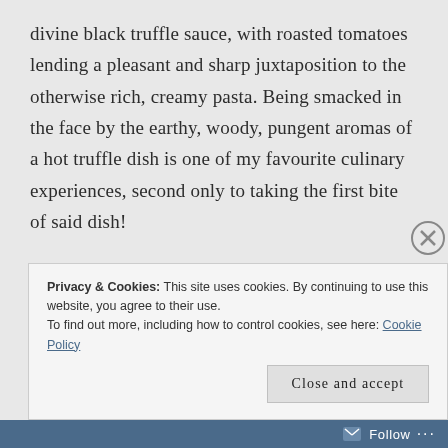divine black truffle sauce, with roasted tomatoes lending a pleasant and sharp juxtaposition to the otherwise rich, creamy pasta. Being smacked in the face by the earthy, woody, pungent aromas of a hot truffle dish is one of my favourite culinary experiences, second only to taking the first bite of said dish!
Privacy & Cookies: This site uses cookies. By continuing to use this website, you agree to their use. To find out more, including how to control cookies, see here: Cookie Policy
Follow ...